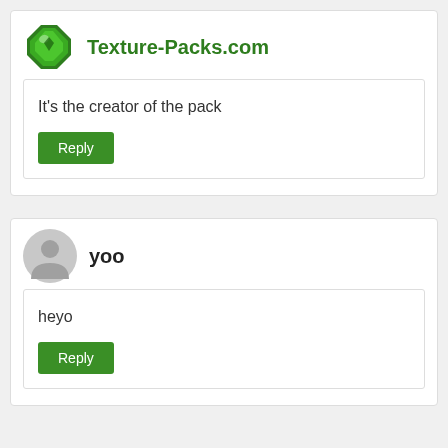Texture-Packs.com
It's the creator of the pack
Reply
yoo
heyo
Reply